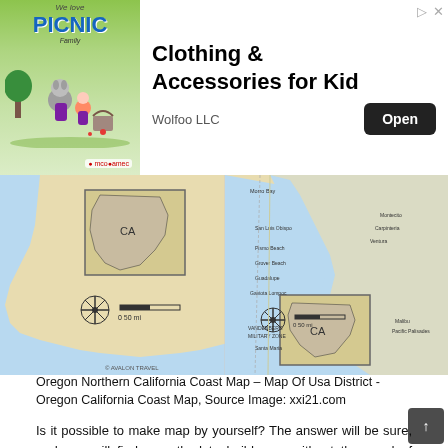[Figure (screenshot): Advertisement banner for 'Clothing & Accessories for Kid' by Wolfoo LLC, featuring animated picnic characters on the left, an Open button, and ad icons top right.]
[Figure (map): Map of Oregon and Northern California Coast showing coastal geography, city names, and two inset maps of California. MOON travel guide branding at bottom with blue banner.]
Oregon Northern California Coast Map – Map Of Usa District - Oregon California Coast Map, Source Image: xxi21.com
Is it possible to make map by yourself? The answer will be sure, and you will find a method to build map without the need of computer, but limited by particular location. People may make their very own course depending on basic information and facts.